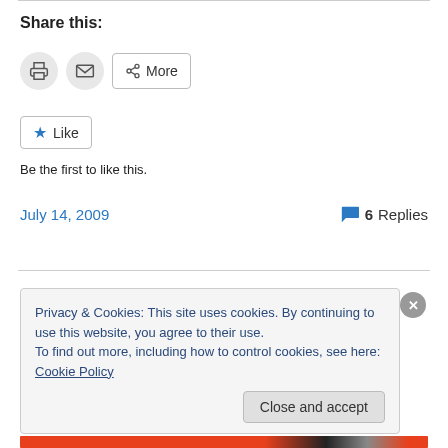Share this:
[Figure (other): Print icon button, Email icon button, and More share button]
[Figure (other): Like button with star icon]
Be the first to like this.
July 14, 2009   6 Replies
Privacy & Cookies: This site uses cookies. By continuing to use this website, you agree to their use.
To find out more, including how to control cookies, see here: Cookie Policy
Close and accept